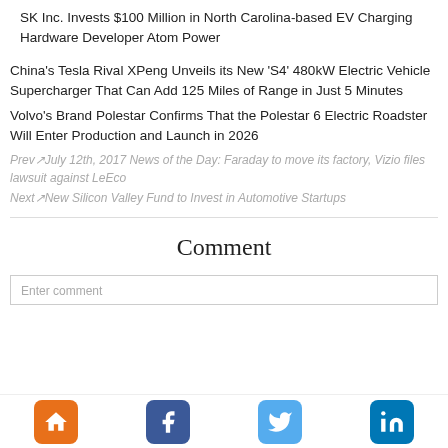SK Inc. Invests $100 Million in North Carolina-based EV Charging Hardware Developer Atom Power
China's Tesla Rival XPeng Unveils its New 'S4' 480kW Electric Vehicle Supercharger That Can Add 125 Miles of Range in Just 5 Minutes
Volvo's Brand Polestar Confirms That the Polestar 6 Electric Roadster Will Enter Production and Launch in 2026
Prev↗July 12th, 2017 News of the Day: Faraday to move its factory, Vizio files lawsuit against LeEco
Next↗New Silicon Valley Fund to Invest in Automotive Startups
Comment
Enter comment
[Figure (infographic): Social media icon bar with home, Facebook, Twitter, and LinkedIn icons]